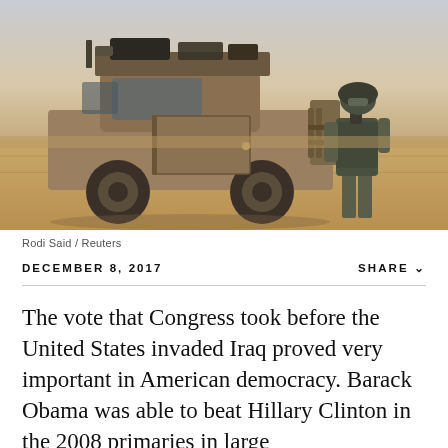[Figure (photo): A military vehicle (tan/dusty SUV/truck) parked in a desert landscape with a soldier in combat gear standing beside it. Arid flat terrain and pale sky in background.]
Rodi Said / Reuters
DECEMBER 8, 2017
SHARE ∨
The vote that Congress took before the United States invaded Iraq proved very important in American democracy. Barack Obama was able to beat Hillary Clinton in the 2008 primaries in large